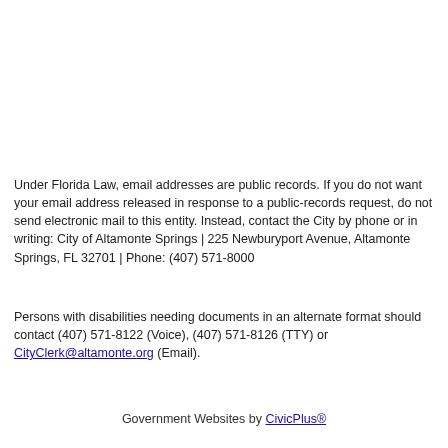Under Florida Law, email addresses are public records. If you do not want your email address released in response to a public-records request, do not send electronic mail to this entity. Instead, contact the City by phone or in writing: City of Altamonte Springs | 225 Newburyport Avenue, Altamonte Springs, FL 32701 | Phone: (407) 571-8000
Persons with disabilities needing documents in an alternate format should contact (407) 571-8122 (Voice), (407) 571-8126 (TTY) or CityClerk@altamonte.org (Email).
Government Websites by CivicPlus®